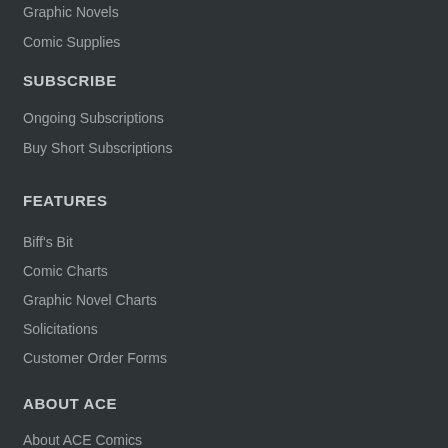Graphic Novels
Comic Supplies
SUBSCRIBE
Ongoing Subscriptions
Buy Short Subscriptions
FEATURES
Biff's Bit
Comic Charts
Graphic Novel Charts
Solicitations
Customer Order Forms
ABOUT ACE
About ACE Comics
Store Locations
Shipping
FAQ
Contact Us